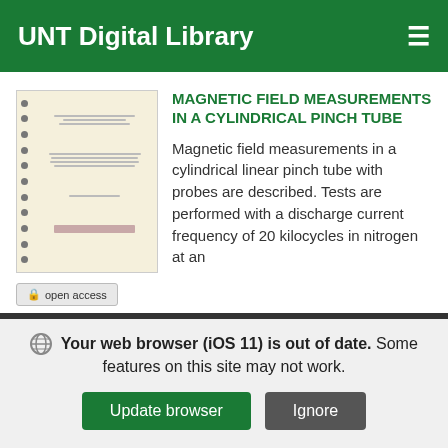UNT Digital Library
[Figure (photo): Thumbnail image of a spiral-bound document with yellowish pages, showing text lines on the cover page.]
MAGNETIC FIELD MEASUREMENTS IN A CYLINDRICAL PINCH TUBE
Magnetic field measurements in a cylindrical linear pinch tube with probes are described. Tests are performed with a discharge current frequency of 20 kilocycles in nitrogen at an initial pressure of 0.1 mm Hg. Initial capacitor voltage is varied from 1000 to 5000 volts. The
open access
Your web browser (iOS 11) is out of date. Some features on this site may not work.
Update browser
Ignore